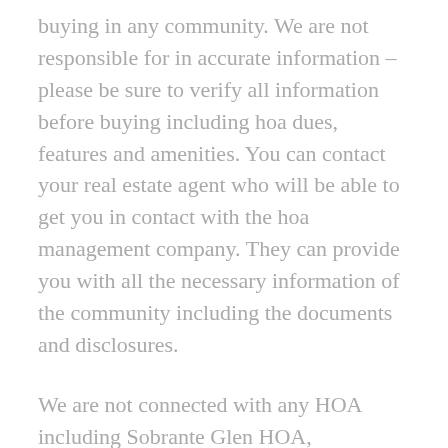buying in any community. We are not responsible for in accurate information – please be sure to verify all information before buying including hoa dues, features and amenities. You can contact your real estate agent who will be able to get you in contact with the hoa management company. They can provide you with all the necessary information of the community including the documents and disclosures.
We are not connected with any HOA including Sobrante Glen HOA, homeowners association management company or real agent. If you find anything in our listings that are not accurate or need updating please feel free to contact us.